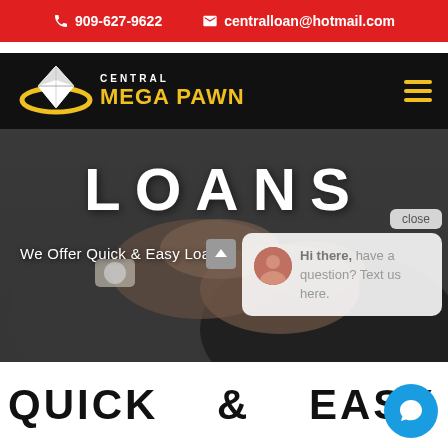909-627-9622  centralloan@hotmail.com
[Figure (logo): Central Mega Pawn logo with diamond icon on black navigation bar]
[Figure (photo): Handshake photo background with LOANS title overlay and 'We Offer Quick & Easy Loans' subtitle, plus chat popup saying 'Hi there, have a question? Text us here.']
QUICK & EASY LOA